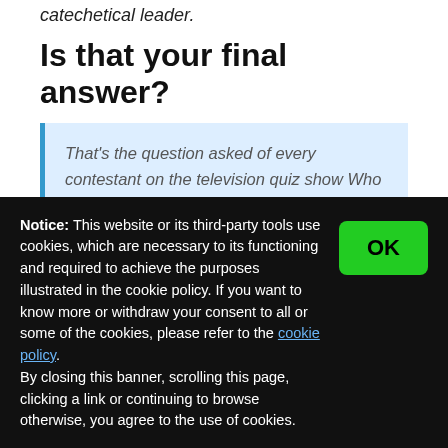catechetical leader.
Is that your final answer?
That's the question asked of every contestant on the television quiz show Who Wants to Be a Millionaire? Four answers are offered for each question. As the questions get harder, contestants use “lifelines” for help,
Notice: This website or its third-party tools use cookies, which are necessary to its functioning and required to achieve the purposes illustrated in the cookie policy. If you want to know more or withdraw your consent to all or some of the cookies, please refer to the cookie policy.
By closing this banner, scrolling this page, clicking a link or continuing to browse otherwise, you agree to the use of cookies.